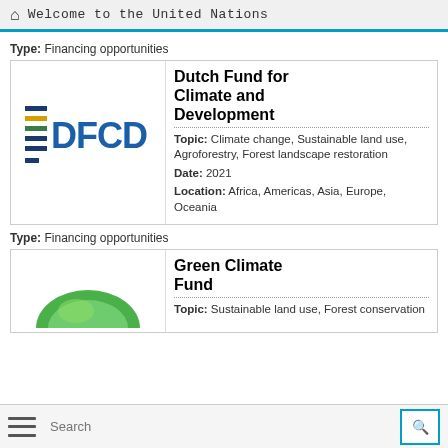Welcome to the United Nations
Type: Financing opportunities
[Figure (logo): EDFCD logo with horizontal blue lines and yellow/green accents]
Dutch Fund for Climate and Development
Topic: Climate change, Sustainable land use, Agroforestry, Forest landscape restoration
Date: 2021
Location: Africa, Americas, Asia, Europe, Oceania
Type: Financing opportunities
[Figure (logo): Green Climate Fund logo - green dome/leaf shape]
Green Climate Fund
Topic: Sustainable land use, Forest conservation
Search